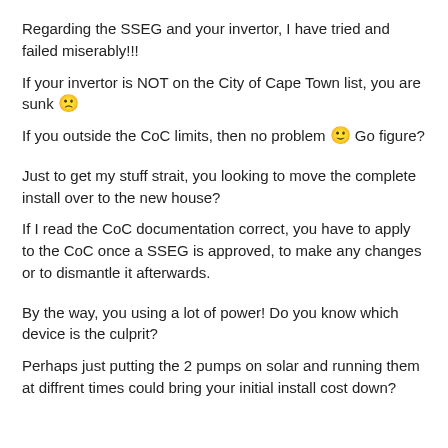Regarding the SSEG and your invertor, I have tried and failed miserably!!!
If your invertor is NOT on the City of Cape Town list, you are sunk 🙁
If you outside the CoC limits, then no problem 🙂 Go figure?
Just to get my stuff strait, you looking to move the complete install over to the new house?
If I read the CoC documentation correct, you have to apply to the CoC once a SSEG is approved, to make any changes or to dismantle it afterwards.
By the way, you using a lot of power! Do you know which device is the culprit?
Perhaps just putting the 2 pumps on solar and running them at diffrent times could bring your initial install cost down?